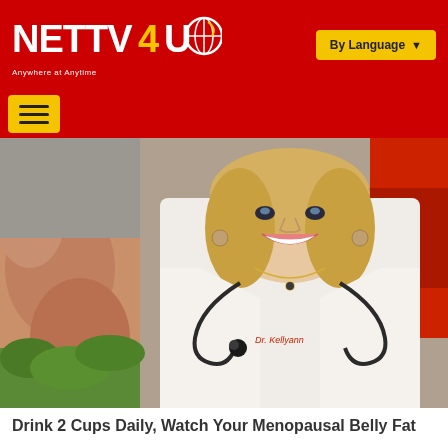NETTV4U – Anywhere at Anytime | By Language
[Figure (photo): A smiling blonde woman in a white doctor coat with a stethoscope around her neck. Her name tag reads 'Dr. Kellyann'. On the left side of the image, a person's bare arm/leg is partially visible. Green foliage is visible at the bottom left.]
Drink 2 Cups Daily, Watch Your Menopausal Belly Fat